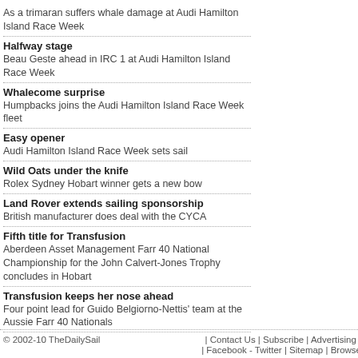As a trimaran suffers whale damage at Audi Hamilton Island Race Week
Halfway stage
Beau Geste ahead in IRC 1 at Audi Hamilton Island Race Week
Whalecome surprise
Humpbacks joins the Audi Hamilton Island Race Week fleet
Easy opener
Audi Hamilton Island Race Week sets sail
Wild Oats under the knife
Rolex Sydney Hobart winner gets a new bow
Land Rover extends sailing sponsorship
British manufacturer does deal with the CYCA
Fifth title for Transfusion
Aberdeen Asset Management Farr 40 National Championship for the John Calvert-Jones Trophy concludes in Hobart
Transfusion keeps her nose ahead
Four point lead for Guido Belgiorno-Nettis' team at the Aussie Farr 40 Nationals
© 2002-10 TheDailySail  |  Contact Us  |  Subscribe  |  Advertising  |  |  Facebook - Twitter  |  Sitemap  |  Browse